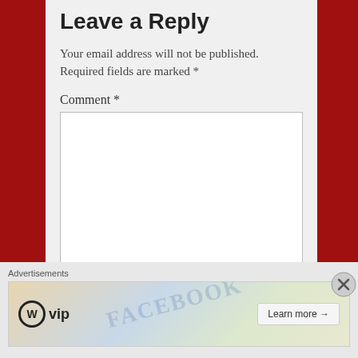Leave a Reply
Your email address will not be published. Required fields are marked *
Comment *
Name *
[Figure (screenshot): Advertisement banner showing WordPress VIP logo and 'Learn more' button with colorful background]
Advertisements